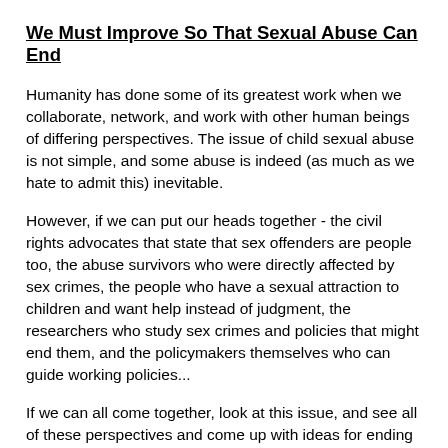We Must Improve So That Sexual Abuse Can End
Humanity has done some of its greatest work when we collaborate, network, and work with other human beings of differing perspectives. The issue of child sexual abuse is not simple, and some abuse is indeed (as much as we hate to admit this) inevitable.
However, if we can put our heads together - the civil rights advocates that state that sex offenders are people too, the abuse survivors who were directly affected by sex crimes, the people who have a sexual attraction to children and want help instead of judgment, the researchers who study sex crimes and policies that might end them, and the policymakers themselves who can guide working policies...
If we can all come together, look at this issue, and see all of these perspectives and come up with ideas for ending sexual abuse, then we stand a much better chance at making real change happen. As it is, we are bickering among ourselves about who has the best method, and children are paying the